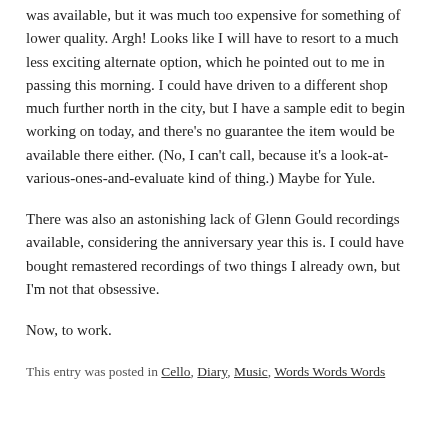was available, but it was much too expensive for something of lower quality. Argh! Looks like I will have to resort to a much less exciting alternate option, which he pointed out to me in passing this morning. I could have driven to a different shop much further north in the city, but I have a sample edit to begin working on today, and there’s no guarantee the item would be available there either. (No, I can’t call, because it’s a look-at-various-ones-and-evaluate kind of thing.) Maybe for Yule.
There was also an astonishing lack of Glenn Gould recordings available, considering the anniversary year this is. I could have bought remastered recordings of two things I already own, but I’m not that obsessive.
Now, to work.
This entry was posted in Cello, Diary, Music, Words Words Words on September 26, 2007 by Author.